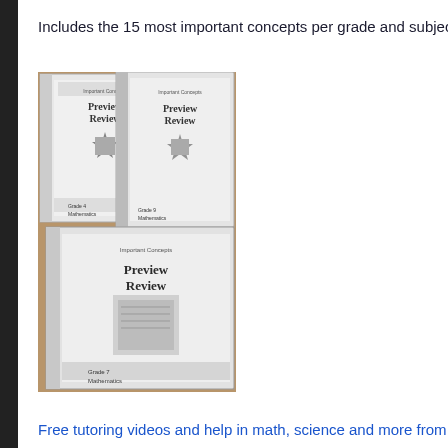Includes the 15 most important concepts per grade and subject fr
[Figure (photo): Photo of three 'Preview Review' mathematics workbooks: Grade 4 Mathematics, Grade 9 Mathematics, and Grade 7 Mathematics, shown stacked on a surface.]
Free tutoring videos and help in math, science and more from Kl